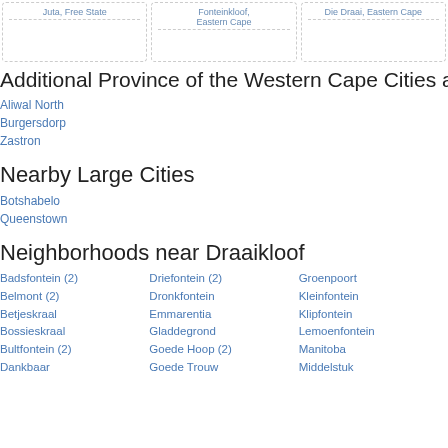| Juta, Free State | Fonteinkloof, Eastern Cape | Die Draai, Eastern Cape |
| --- | --- | --- |
|   |   |   |
Additional Province of the Western Cape Cities and
Aliwal North
Burgersdorp
Zastron
Nearby Large Cities
Botshabelo
Queenstown
Neighborhoods near Draaikloof
Badsfontein (2)
Belmont (2)
Betjeskraal
Bossieskraal
Bultfontein (2)
Dankbaar
Driefontein (2)
Dronkfontein
Emmarentia
Gladdegrond
Goede Hoop (2)
Goede Trouw
Groenpoort
Kleinfontein
Klipfontein
Lemoenfontein
Manitoba
Middelstuk